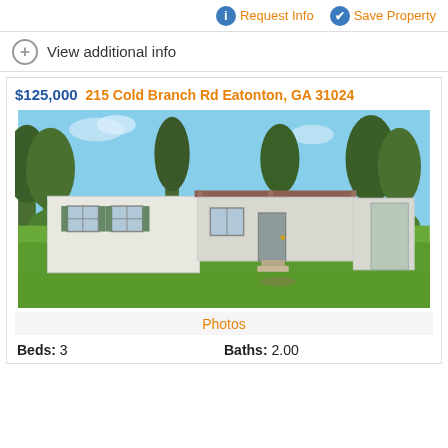Request Info
Save Property
View additional info
$125,000   215 Cold Branch Rd Eatonton, GA 31024
[Figure (photo): Exterior photo of a single-story white mobile home with a covered front porch, wood deck steps, surrounded by green lawn and tall trees.]
Photos
Beds: 3    Baths: 2.00